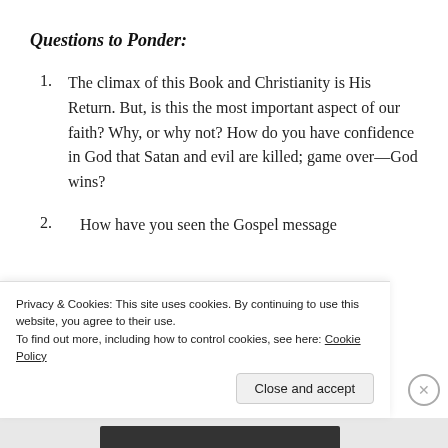Questions to Ponder:
The climax of this Book and Christianity is His Return. But, is this the most important aspect of our faith? Why, or why not? How do you have confidence in God that Satan and evil are killed; game over—God wins?
How have you seen the Gospel message
Privacy & Cookies: This site uses cookies. By continuing to use this website, you agree to their use.
To find out more, including how to control cookies, see here: Cookie Policy
Close and accept